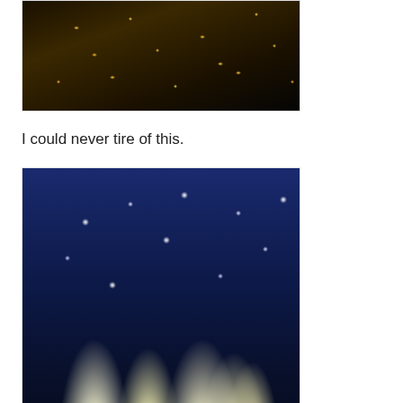[Figure (photo): Christmas lights on tree branches at night, dark background with golden/warm light strings]
I could never tire of this.
[Figure (photo): Illuminated fountain display at night with blue sky, water jets lit in white/warm light, star-shaped lights hanging above]
The fountain display is set to Christmas music and changes colors, but I like the white the best.
[Figure (photo): Red lights on tree branches against dark blue twilight sky (partial, cropped at bottom of page)]